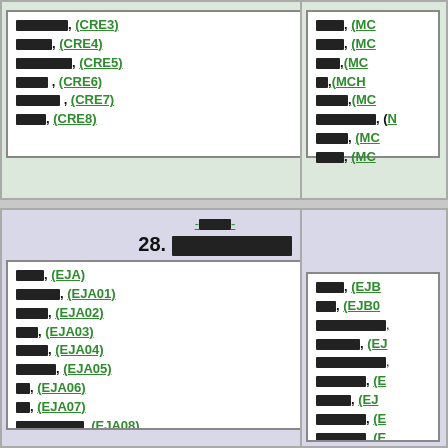□□□□□□□, (CRE3)
□□□□□, (CRE4)
□□□□□□□□, (CRE5)
□□□□, (CRE6)
□□□□□□, (CRE7)
□□□□, (CRE8)
□□□□, (MC...)
□□□□, (MC...)
□□□□, (MC...)
□□, (MCH...)
□□□□□, (MC...)
□□□□□□□□□, (N...)
□□□□□, (MC...)
□□□□, (MC...)
-□□□□- 28. □□□□□□□□□
□□□□, (EJA)
□□□□□□□, (EJA01)
□□□□□, (EJA02)
□□□, (EJA03)
□□□□□, (EJA04)
□□□□□□, (EJA05)
□□, (EJA06)
□□, (EJA07)
□□□□□□□□□□, (EJA08)
□□□, (EJA09)
□□□□, (EJA10)
□□□□, (EJB...)
□□□, (EJB0...)
□□□□□□□□□□□,
□□□□□□□, (EJ...)
□□□□□□□□□□□,
□□□□□□□□, (E...)
□□□□□, (EJ...)
□□□□□□□□, (E...)
□□□□□□□□, (E...)
□□□□□□□□□, (N...)
□□□□□□□□, (E...)